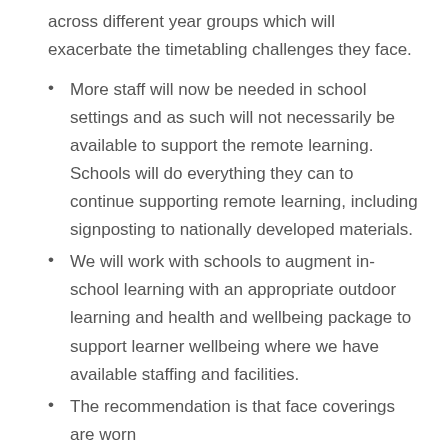across different year groups which will exacerbate the timetabling challenges they face.
More staff will now be needed in school settings and as such will not necessarily be available to support the remote learning. Schools will do everything they can to continue supporting remote learning, including signposting to nationally developed materials.
We will work with schools to augment in-school learning with an appropriate outdoor learning and health and wellbeing package to support learner wellbeing where we have available staffing and facilities.
The recommendation is that face coverings are worn